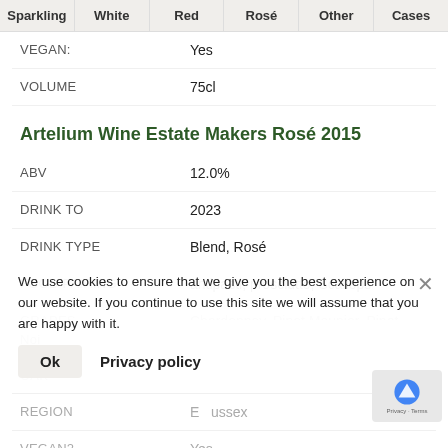Sparkling | White | Red | Rosé | Other | Cases
| Field | Value |
| --- | --- |
| VEGAN: | Yes |
| VOLUME | 75cl |
Artelium Wine Estate Makers Rosé 2015
| Field | Value |
| --- | --- |
| ABV | 12.0% |
| DRINK TO | 2023 |
| DRINK TYPE | Blend, Rosé |
| FOOD PAIRING | antipasti, prosciutto, Scallops |
| GRAPES | Chardonnay, Pinot Meunier, Pinot Noir |
| OAK |  |
| REGION | East Sussex |
| VEGAN2 | Yes |
We use cookies to ensure that we give you the best experience on our website. If you continue to use this site we will assume that you are happy with it.